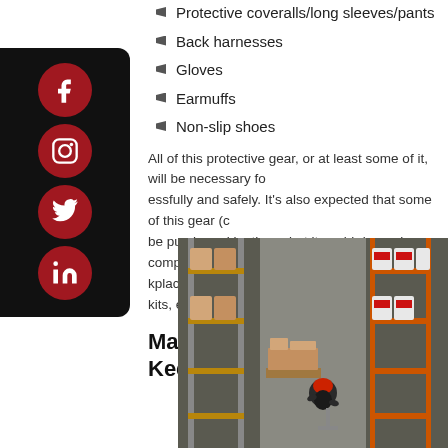Protective coveralls/long sleeves/pants
Back harnesses
Gloves
Earmuffs
Non-slip shoes
All of this protective gear, or at least some of it, will be necessary for working successfully and safely. It's also expected that some of this gear (could) be purchased by them, but it could depend on company policy and if the workplace has dedicated safety stations (first-aid kits, eyewash sta...
Make a Continous Effort to Keep Areas Cle...
[Figure (photo): Aerial view of a warehouse worker walking between tall shelving racks stocked with boxes and containers, viewed from above.]